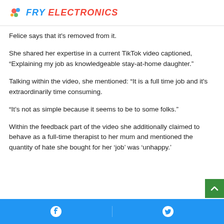FRY ELECTRONICS
Felice says that it's removed from it.
She shared her expertise in a current TikTok video captioned, "Explaining my job as knowledgeable stay-at-home daughter."
Talking within the video, she mentioned: “It is a full time job and it’s extraordinarily time consuming.
“It’s not as simple because it seems to be to some folks.”
Within the feedback part of the video she additionally claimed to behave as a full-time therapist to her mum and mentioned the quantity of hate she bought for her ‘job’ was ‘unhappy.’
Facebook | Twitter